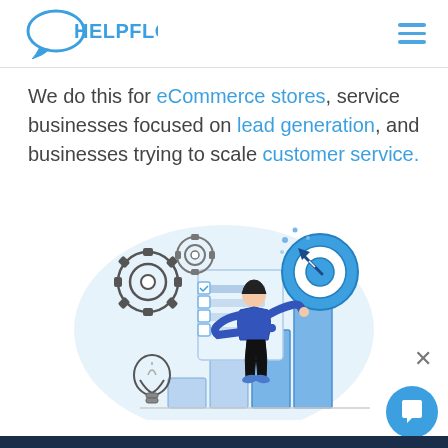HELPFLOW
We do this for eCommerce stores, service businesses focused on lead generation, and businesses trying to scale customer service.
[Figure (illustration): Business illustration showing a person in a blue sweater climbing ascending bar chart steps, reaching toward a target/bullseye with an arrow. Background elements include gears, a checklist/clipboard, a lightbulb, and decorative dots on a light blue circular backdrop.]